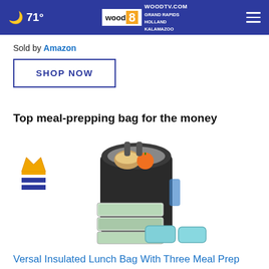71° woodtv.com WOOD TV 8 GRAND RAPIDS HOLLAND KALAMAZOO
Sold by Amazon
SHOP NOW
Top meal-prepping bag for the money
[Figure (photo): A black insulated lunch bag open at top showing food containers with sandwiches and an orange inside, plus three clear rectangular meal prep containers stacked at the front, and two teal ice packs at the bottom. A gold crown and two navy bars ranking icon appears to the left.]
Versal Insulated Lunch Bag With Three Meal Prep Containers